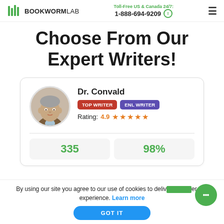BOOKWORMLAB | Toll-Free US & Canada 24/7: 1-888-694-9209
Choose From Our Expert Writers!
[Figure (photo): Writer profile card for Dr. Convald with TOP WRITER and ENL WRITER badges, Rating 4.9 stars, stats showing 335 and 98%]
By using our site you agree to our use of cookies to deliver a better site experience. Learn more
GOT IT